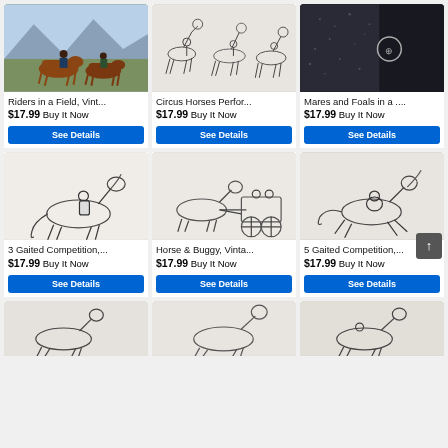[Figure (illustration): Riders in a Field, color illustration of two people on horseback in a green landscape with mountains]
Riders in a Field, Vint...
$17.99 Buy It Now
See Details
[Figure (illustration): Circus Horses Perfor..., pencil sketch of circus horses performing with riders]
Circus Horses Perfor...
$17.99 Buy It Now
See Details
[Figure (illustration): Mares and Foals in a ..., dark grainy illustration]
Mares and Foals in a ....
$17.99 Buy It Now
See Details
[Figure (illustration): 3 Gaited Competition, pencil sketch of horse and rider in competition]
3 Gaited Competition,...
$17.99 Buy It Now
See Details
[Figure (illustration): Horse & Buggy, Vinta..., pencil sketch of horse pulling a buggy with passengers]
Horse & Buggy, Vinta...
$17.99 Buy It Now
See Details
[Figure (illustration): 5 Gaited Competition, pencil sketch of horse and rider galloping]
5 Gaited Competition,...
$17.99 Buy It Now
See Details
[Figure (illustration): Partial view of horse illustration at bottom left]
[Figure (illustration): Partial view of horse illustration at bottom center]
[Figure (illustration): Partial view of horse illustration at bottom right]